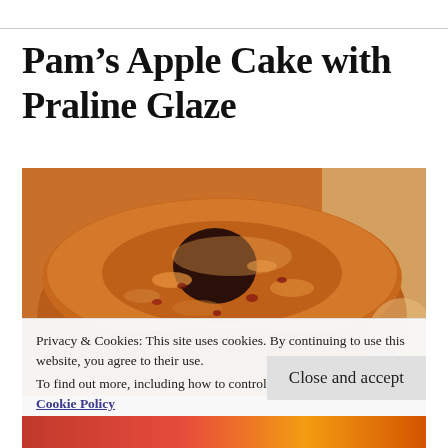Pam's Apple Cake with Praline Glaze
[Figure (photo): Close-up photo of a bundt-style apple cake with a shiny praline glaze, showing the hole in the center of the cake, with a golden-brown caramelized surface.]
Privacy & Cookies: This site uses cookies. By continuing to use this website, you agree to their use.
To find out more, including how to control cookies, see here: Cookie Policy
Close and accept